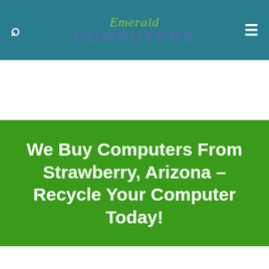Emerald Computers
We Buy Computers From Strawberry, Arizona – Recycle Your Computer Today!
We BUY, recycle and sell used computers and laptops. We call this effort Arizona Computer Recycling.
[youtube autoplay=yes]D8Vl27ROD3E[/youtu